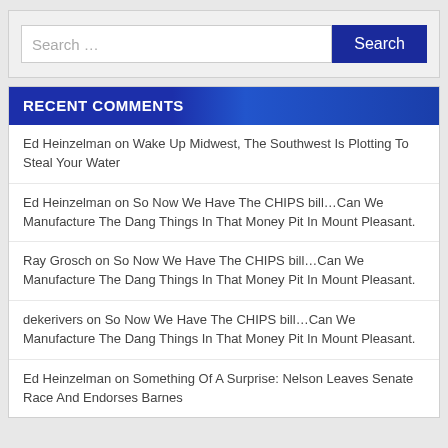[Figure (screenshot): Search bar with text input placeholder 'Search …' and a dark blue 'Search' button]
RECENT COMMENTS
Ed Heinzelman on Wake Up Midwest, The Southwest Is Plotting To Steal Your Water
Ed Heinzelman on So Now We Have The CHIPS bill…Can We Manufacture The Dang Things In That Money Pit In Mount Pleasant.
Ray Grosch on So Now We Have The CHIPS bill…Can We Manufacture The Dang Things In That Money Pit In Mount Pleasant.
dekerivers on So Now We Have The CHIPS bill…Can We Manufacture The Dang Things In That Money Pit In Mount Pleasant.
Ed Heinzelman on Something Of A Surprise: Nelson Leaves Senate Race And Endorses Barnes